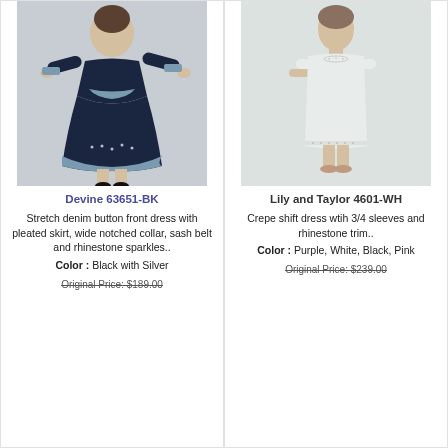[Figure (photo): Woman wearing a dark navy stretch denim dress with blue-gray trim, sash belt, and rhinestone sparkles]
Devine 63651-BK
Stretch denim button front dress with pleated skirt, wide notched collar, sash belt and rhinestone sparkles..
Color : Black with Silver
Original Price: $189.00
[Figure (photo): Woman wearing a white/light gray crepe shift dress with 3/4 sleeves and rhinestone trim]
Lily and Taylor 4601-WH
Crepe shift dress wtih 3/4 sleeves and rhinestone trim..
Color : Purple, White, Black, Pink
Original Price: $239.00